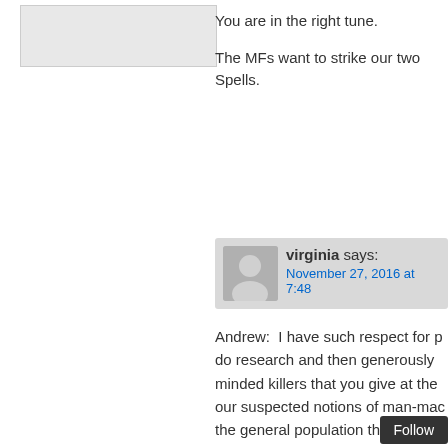[Figure (photo): Gray placeholder avatar image in upper left area]
You are in the right tune.
The MFs want to strike our two Spells.
virginia says: November 27, 2016 at 7:48
Andrew:  I have such respect for p do research and then generously minded killers that you give at the our suspected notions of man-mac the general population think are 'na
The Fukushima earthquake and ts have been caused as a lesson to J support for the Palestinians and fo charge of the Daichi plant (as they warned to cease their Palestinian s and the poor people researched that the